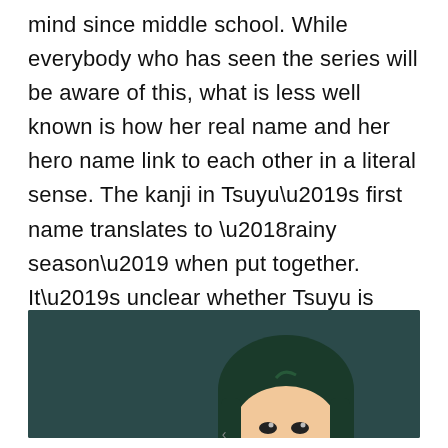mind since middle school. While everybody who has seen the series will be aware of this, what is less well known is how her real name and her hero name link to each other in a literal sense. The kanji in Tsuyu’s first name translates to ‘rainy season’ when put together. It’s unclear whether Tsuyu is aware of this or if she simply chose her hero name because the rainy season is her favorite.
[Figure (illustration): Anime-style illustration of a character with dark green hair and light skin, shown from the shoulders up against a dark teal background.]